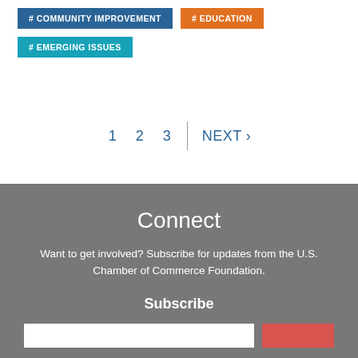#COMMUNITY IMPROVEMENT
#EDUCATION
#EMERGING ISSUES
1  2  3  |  NEXT ›
Connect
Want to get involved? Subscribe for updates from the U.S. Chamber of Commerce Foundation.
Subscribe